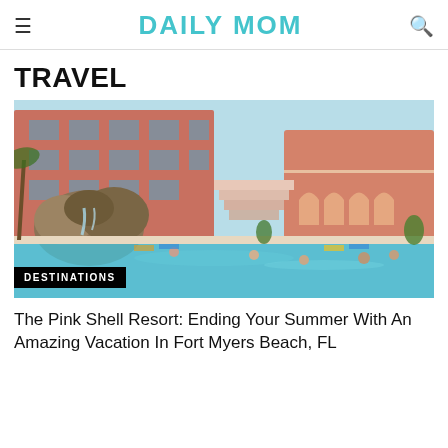DAILY MOM
TRAVEL
[Figure (photo): Outdoor resort pool area with people swimming, large rock waterfall feature on the left, pink hotel building in the background with balconies and arched colonnade. Blue water, lounge chairs visible.]
DESTINATIONS
The Pink Shell Resort: Ending Your Summer With An Amazing Vacation In Fort Myers Beach, FL